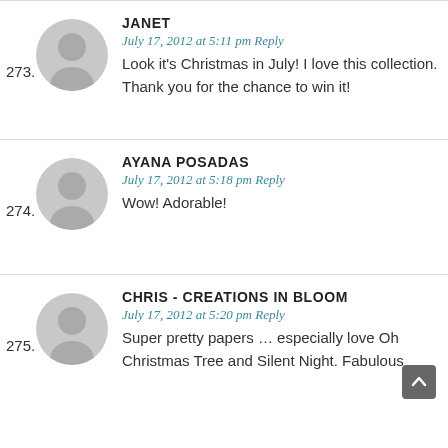273. JANET — July 17, 2012 at 5:11 pm Reply — Look it's Christmas in July! I love this collection. Thank you for the chance to win it!
274. AYANA POSADAS — July 17, 2012 at 5:18 pm Reply — Wow! Adorable!
275. CHRIS - CREATIONS IN BLOOM — July 17, 2012 at 5:20 pm Reply — Super pretty papers … especially love Oh Christmas Tree and Silent Night. Fabulous